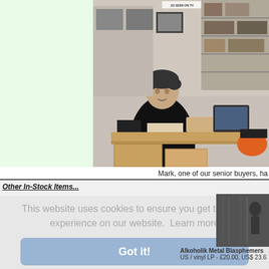[Figure (photo): Photo of Mark, one of the senior buyers, sitting at a desk in a warehouse/shop storage area surrounded by boxes, vinyl records and shelving.]
Mark, one of our senior buyers, ha
Other In-Stock Items...
This website uses cookies to ensure you get the best experience on our website.  Learn more
Got it!
[Figure (photo): Thumbnail of album cover for Alkoholik Metal Blasphemers]
Alkoholik Metal Blasphemers
US / vinyl LP - £20.00, US$ 23.6